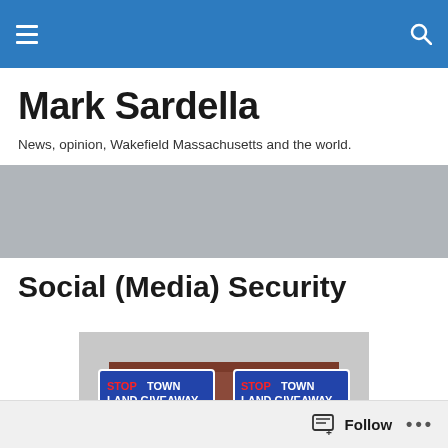Mark Sardella — navigation header with menu and search icons
Mark Sardella
News, opinion, Wakefield Massachusetts and the world.
Social (Media) Security
[Figure (photo): Two blue protest signs on wooden stakes reading 'STOP TOWN LAND GIVEAWAY VOTE NO APRIL 1' in white and red text, held in front of a brick building in what appears to be a downtown area.]
Follow  ...